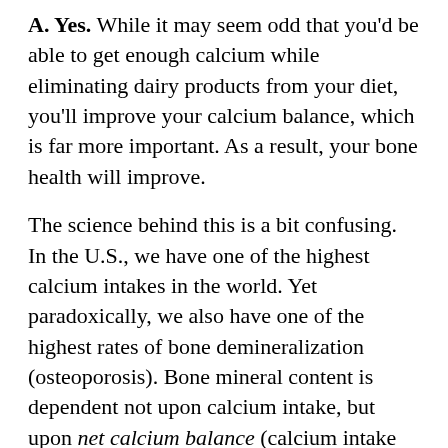A. Yes. While it may seem odd that you'd be able to get enough calcium while eliminating dairy products from your diet, you'll improve your calcium balance, which is far more important. As a result, your bone health will improve.
The science behind this is a bit confusing. In the U.S., we have one of the highest calcium intakes in the world. Yet paradoxically, we also have one of the highest rates of bone demineralization (osteoporosis). Bone mineral content is dependent not upon calcium intake, but upon net calcium balance (calcium intake minus calcium excretion). Most nutritionists focus on the calcium intake side of the calcium balance equation, however few realize that the calcium excretion side of the